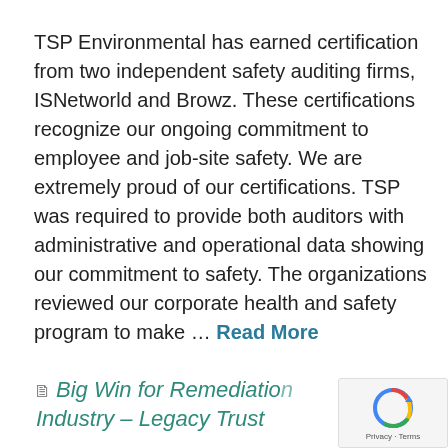TSP Environmental has earned certification from two independent safety auditing firms, ISNetworld and Browz.  These certifications recognize our ongoing commitment to employee and job-site safety.  We are extremely proud of our certifications. TSP was required to provide both auditors with administrative and operational data showing our commitment to safety.  The organizations reviewed our corporate health and safety program to make … Read More
Big Win for Remediation Industry – Legacy Trust...